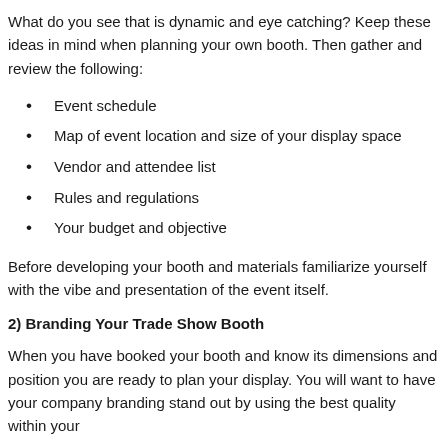What do you see that is dynamic and eye catching? Keep these ideas in mind when planning your own booth. Then gather and review the following:
Event schedule
Map of event location and size of your display space
Vendor and attendee list
Rules and regulations
Your budget and objective
Before developing your booth and materials familiarize yourself with the vibe and presentation of the event itself.
2) Branding Your Trade Show Booth
When you have booked your booth and know its dimensions and position you are ready to plan your display. You will want to have your company branding stand out by using the best quality within your